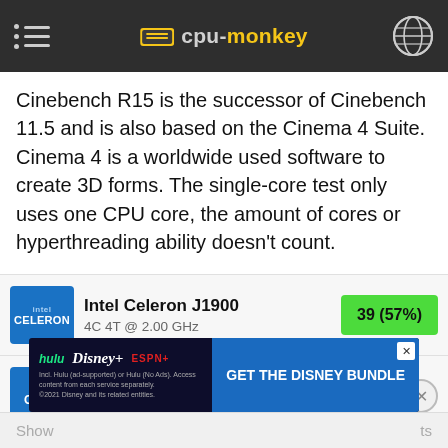cpu-monkey
Cinebench R15 is the successor of Cinebench 11.5 and is also based on the Cinema 4 Suite. Cinema 4 is a worldwide used software to create 3D forms. The single-core test only uses one CPU core, the amount of cores or hyperthreading ability doesn't count.
| CPU | Spec | Score |
| --- | --- | --- |
| Intel Celeron J1900 | 4C 4T @ 2.00 GHz | 39 (57%) |
| Intel Core i3-3227U | 2C 4T @ 1.90 GHz | 69 (100%) |